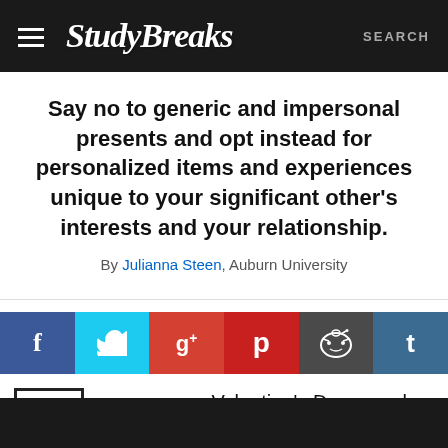Study Breaks | SEARCH
Say no to generic and impersonal presents and opt instead for personalized items and experiences unique to your significant other's interests and your relationship.
By Julianna Steen, Auburn University
[Figure (other): Social media sharing buttons row: Facebook (f), Twitter (bird), Google+ (g+), Pinterest (p), Reddit (alien), Tumblr (t)]
very year on Valentine's Day, people worldwide exchange greeting cards, candy